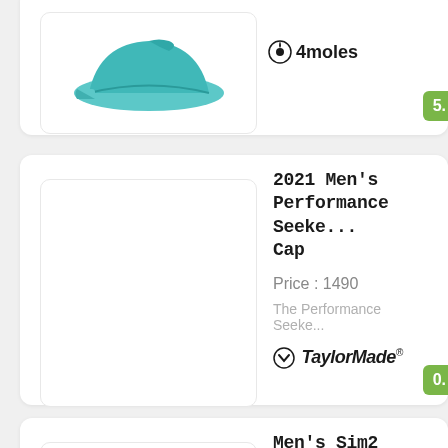[Figure (photo): Teal/turquoise golf cap shown partially at top of page]
4moles
5.
2021 Men's Performance Seeke... Cap
Price : 1490
The Performance Seeke...
TaylorMade
0.
Men's Sim2 Driver Adjustable Cap
Price : 1690
Get what the pros wear...